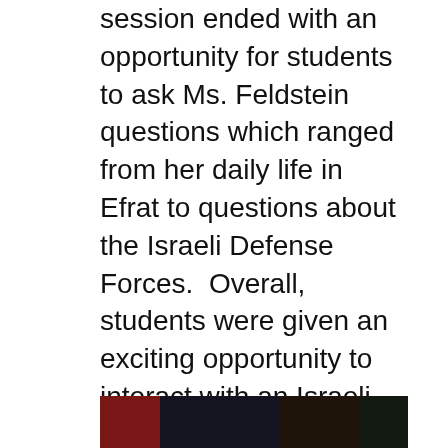session ended with an opportunity for students to ask Ms. Feldstein questions which ranged from her daily life in Efrat to questions about the Israeli Defense Forces.  Overall, students were given an exciting opportunity to interact with an Israeli educator.  JETS curricula units will be integrated throughout our Middle School classes, allowing us not only to utilize cutting edge technology, but also strengthen our student's knowledge of and connection to modern day Israel.
[Figure (photo): Partial view of a photograph showing what appears to be a classroom or presentation setting, visible at the bottom of the page.]